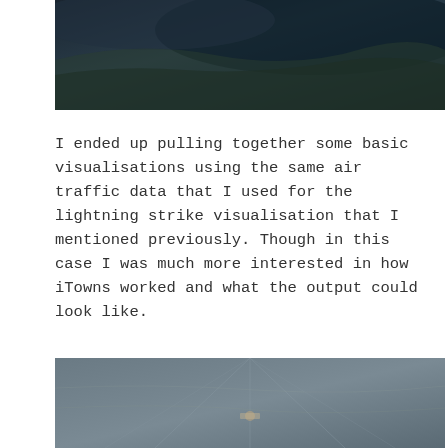[Figure (photo): Aerial or satellite photograph showing dark landscape with coastline or terrain features, top portion of page]
I ended up pulling together some basic visualisations using the same air traffic data that I used for the lightning strike visualisation that I mentioned previously. Though in this case I was much more interested in how iTowns worked and what the output could look like.
[Figure (photo): Aerial photograph showing grey terrain with road or path intersections visible, bottom portion of page]